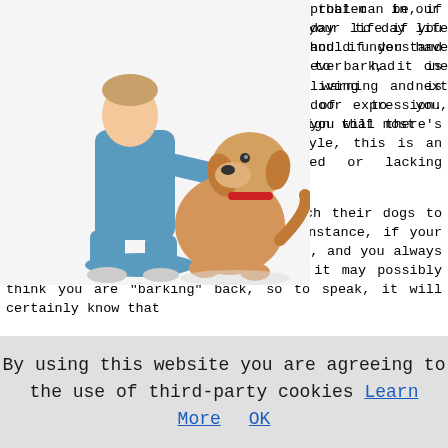[Figure (photo): A veterinarian in blue scrubs kneeling and feeding or examining a golden/yellow Labrador dog, white background.]
problem in our day to day life and if you have ever had one living next door to you, you will most certainly grasp precisely how galling that can be, if truth be told it can literally ruin your life if you spend a lot of hours at home. You should understand that it is quite natural for dogs to bark, it is meant to convey excitement and as a warning and is one of their most crucial forms of expression. Continuous barking, is however, a sign that there's something amiss in the dog's lifestyle, this is an indicator that the dog is bored or lacking stimulation.
People sometimes unintentionally teach their dogs to bark by reinforcing behaviour. For instance, if your dog starts barking in the back garden, and you always dash out and shout for it to stop, it may possibly think you are "barking" back, so to speak, it will certainly know that
By using this website you are agreeing to the use of third-party cookies Learn More OK